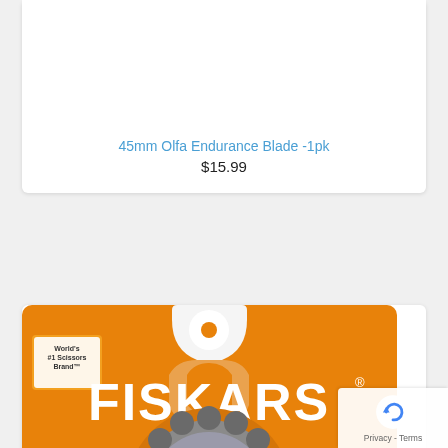[Figure (photo): Partial product card showing top of first product (45mm Olfa Endurance Blade -1pk) with product image area cut off at top]
45mm Olfa Endurance Blade -1pk
$15.99
[Figure (photo): Fiskars 45mm Perforating Rotary Blade product packaging on orange background. Shows FISKARS brand name, perforating rotary blade with serrated edge mounted in orange plastic packaging. Text: World's #1 Scissors Brand, Perforating Rotary Blade, Lame rotative perforante, Cuchilla rotativa perforadora, 45mm]
45mm Perforating Rotary Blade 1pk
$10.49